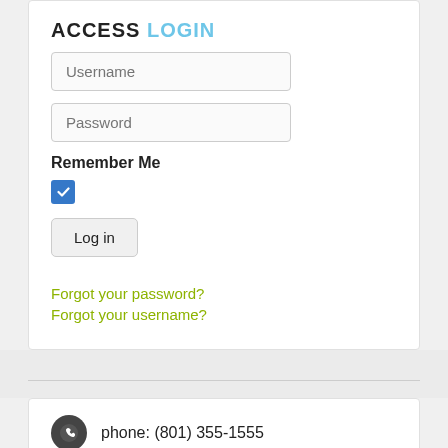ACCESS LOGIN
[Figure (screenshot): Username input field placeholder]
[Figure (screenshot): Password input field placeholder]
Remember Me
[Figure (screenshot): Blue checked checkbox]
[Figure (screenshot): Log in button]
Forgot your password?
Forgot your username?
phone: (801) 355-1555
fax: (801) 355-7177
2416 East 1700 South